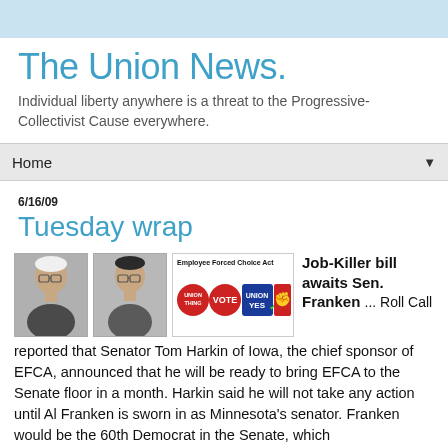The Union News.
Individual liberty anywhere is a threat to the Progressive-Collectivist Cause everywhere.
Home
6/16/09
Tuesday wrap
[Figure (photo): Two person photos and Employee Forced Choice Act badge collage with union logos]
Job-Killer bill awaits Sen. Franken ... Roll Call reported that Senator Tom Harkin of Iowa, the chief sponsor of EFCA, announced that he will be ready to bring EFCA to the Senate floor in a month. Harkin said he will not take any action until Al Franken is sworn in as Minnesota's senator. Franken would be the 60th Democrat in the Senate, which